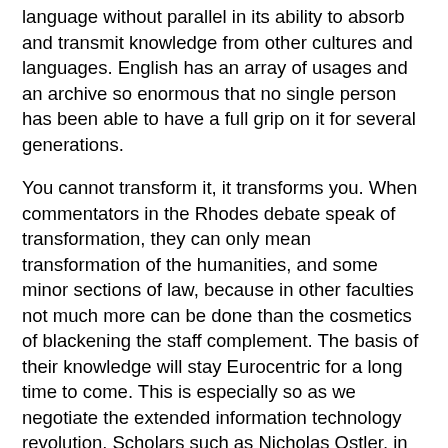language without parallel in its ability to absorb and transmit knowledge from other cultures and languages. English has an array of usages and an archive so enormous that no single person has been able to have a full grip on it for several generations.
You cannot transform it, it transforms you. When commentators in the Rhodes debate speak of transformation, they can only mean transformation of the humanities, and some minor sections of law, because in other faculties not much more can be done than the cosmetics of blackening the staff complement. The basis of their knowledge will stay Eurocentric for a long time to come. This is especially so as we negotiate the extended information technology revolution. Scholars such as Nicholas Ostler, in his Empires of the Word, have shown how lingua francas such as Greek, Latin and English rode on technological innovation and vice versa.
Even if the humanities were to become founded on postcolonial studies, to manufacture a scenario, the already globalised nature of postcolonial studies will ensure they remain Anglocentric. Already most work in the field is being done at American universities and while the offerings from African universities will certainly improve, they will